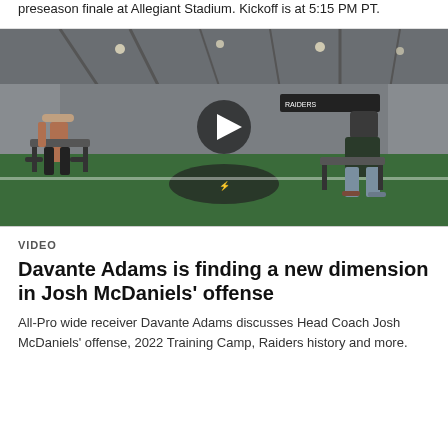preseason finale at Allegiant Stadium. Kickoff is at 5:15 PM PT.
[Figure (screenshot): Two men sitting on chairs facing each other in a large indoor sports facility with turf floor and high ceilings. A video play button overlay is shown in the center of the image.]
VIDEO
Davante Adams is finding a new dimension in Josh McDaniels' offense
All-Pro wide receiver Davante Adams discusses Head Coach Josh McDaniels' offense, 2022 Training Camp, Raiders history and more.